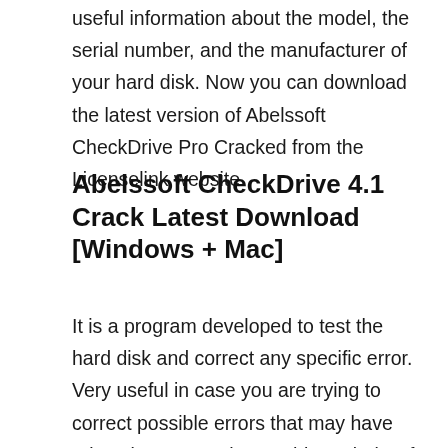useful information about the model, the serial number, and the manufacturer of your hard disk. Now you can download the latest version of Abelssoft CheckDrive Pro Cracked from the Licenselink website.
Abelssoft CheckDrive 4.1 Crack Latest Download [Windows + Mac]
It is a program developed to test the hard disk and correct any specific error. Very useful in case you are trying to correct possible errors that may have arisen later or on the machine, Abelssoft CheckDrive 2022 Keygen presents a very attractive graphical user interface, with all the alternatives already prepared. Start a new force, small for it and it is so